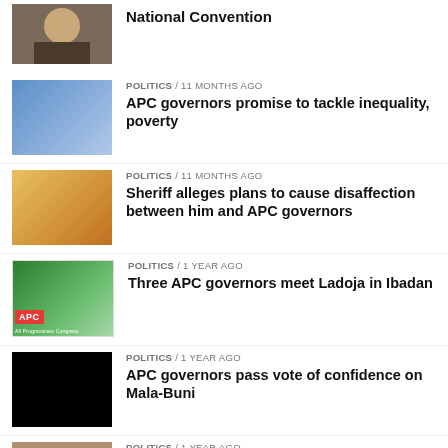[Figure (photo): Man in a suit, portrait photo, top article thumbnail]
National Convention
[Figure (photo): Group of people in traditional attire, blue robes]
POLITICS / 11 months ago
APC governors promise to tackle inequality, poverty
[Figure (photo): Man in traditional cap and orange clothing]
POLITICS / 11 months ago
Sheriff alleges plans to cause disaffection between him and APC governors
[Figure (logo): APC - All Progressives Congress logo, green and white]
POLITICS / 1 year ago
Three APC governors meet Ladoja in Ibadan
[Figure (photo): Black/dark photo thumbnail]
POLITICS / 1 year ago
APC governors pass vote of confidence on Mala-Buni
[Figure (photo): Partial thumbnail of people in traditional wear]
POLITICS / 1 year ago